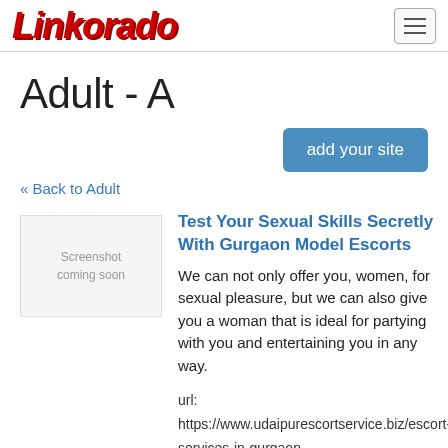Linkorado
Adult - A
add your site
« Back to Adult
[Figure (screenshot): Screenshot coming soon placeholder image]
Test Your Sexual Skills Secretly With Gurgaon Model Escorts
We can not only offer you, women, for sexual pleasure, but we can also give you a woman that is ideal for partying with you and entertaining you in any way.
url: https://www.udaipurescortservice.biz/escort-services-in-gurgaon
added: 2022-01-08